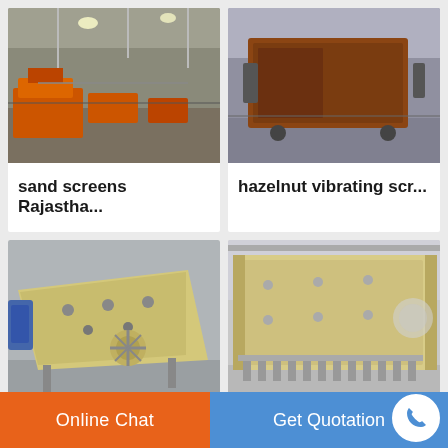[Figure (photo): Industrial factory interior with orange machinery and equipment for sand screening, Rajasthan]
sand screens Rajastha...
[Figure (photo): Rusted/brown large industrial vibrating screen equipment in warehouse]
hazelnut vibrating scr...
[Figure (photo): Yellow/cream colored vibro screen machinery on factory floor]
sun vibro screen man...
[Figure (photo): Large cream/yellow high-end industrial screen equipment in Kathmandu factory]
Kathmandu high end ...